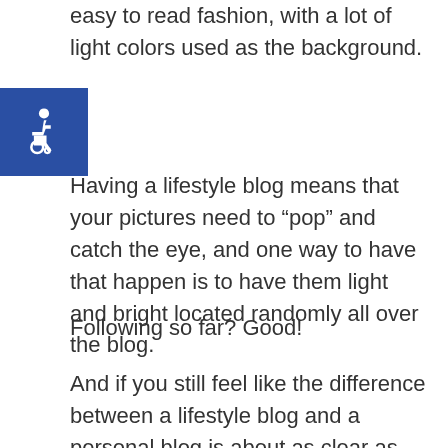easy to read fashion, with a lot of light colors used as the background.
[Figure (logo): Blue square accessibility icon with wheelchair symbol in white]
Having a lifestyle blog means that your pictures need to “pop” and catch the eye, and one way to have that happen is to have them light and bright located randomly all over the blog.
Following so far? Good!
And if you still feel like the difference between a lifestyle blog and a personal blog is about as clear as mud…here are